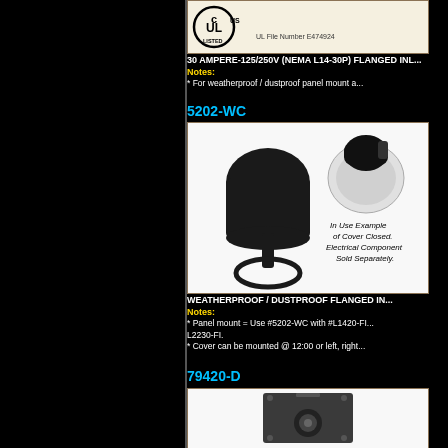[Figure (photo): UL Listed logo with UL File Number E474924]
30 AMPERE-125/250V (NEMA L14-30P) FLANGED INLET
Notes:
* For weatherproof / dustproof panel mount a...
5202-WC
[Figure (photo): 5202-WC weatherproof dustproof flanged inlet cover, black cap component and in-use example of cover closed. Text: In Use Example of Cover Closed. Electrical Component Sold Separately.]
WEATHERPROOF / DUSTPROOF FLANGED INLET COVER
Notes:
* Panel mount = Use #5202-WC with #L1420-FI... L2230-FI.
* Cover can be mounted @ 12:00 or left, right...
79420-D
[Figure (photo): 79420-D electrical junction box device, dark gray metal enclosure with circular component]